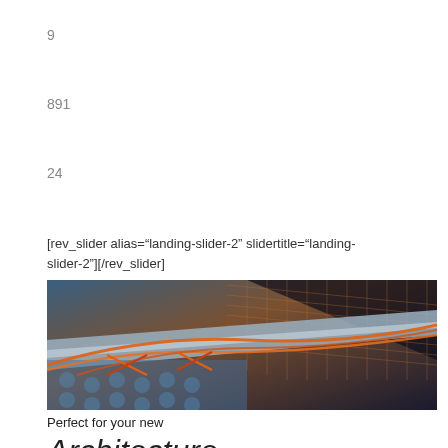9
891
24
[rev_slider alias="landing-slider-2" slidertitle="landing-slider-2"][/rev_slider]
[Figure (photo): Close-up architectural/engineering image showing metallic mesh or grid structure with orange cables or wires running diagonally across a metallic surface]
Perfect for your new
Architecture